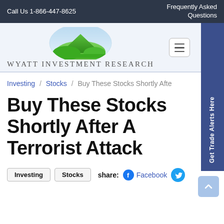Call Us 1-866-447-8625   Frequently Asked Questions
[Figure (logo): Wyatt Investment Research logo with mountain graphic and text]
Get Trade Alerts Here
Investing / Stocks / Buy These Stocks Shortly Afte
Buy These Stocks Shortly After A Terrorist Attack
Investing   Stocks   share:  Facebook
[Figure (logo): Twitter bird logo icon]